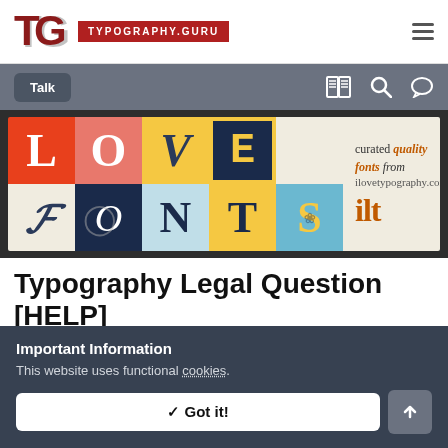TYPOGRAPHY.GURU
[Figure (screenshot): Navigation bar with Talk button and icons for news, search, and chat]
[Figure (illustration): Love Fonts banner advertisement for ilovetypography.com with colorful letter tiles and 'curated quality fonts from ilovetypography.com ilt' text]
Typography Legal Question [HELP]
Important Information
This website uses functional cookies.
✓ Got it!